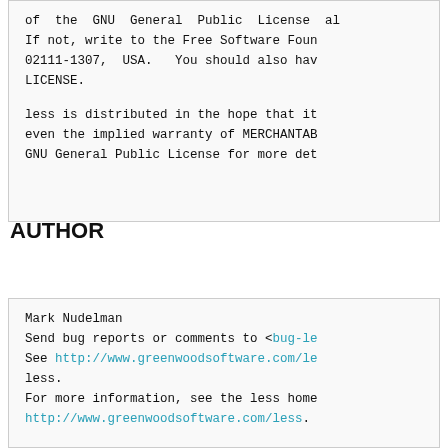of the GNU General Public License al
If not, write to the Free Software Foun
02111-1307, USA.  You should also ha
LICENSE.

less is distributed in the hope that it
even the implied warranty of MERCHANTAB
GNU General Public License for more det
AUTHOR
Mark Nudelman
Send bug reports or comments to <bug-le
See http://www.greenwoodsoftware.com/le
less.
For more information, see the less home
http://www.greenwoodsoftware.com/less.